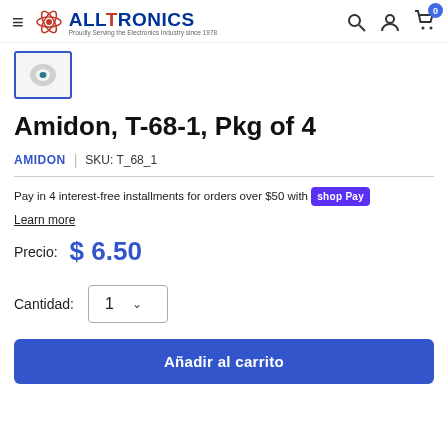ALLTRONICS — navigation header with hamburger menu, logo, search, account, and cart icons
[Figure (photo): Thumbnail image of Amidon T-68-1 toroid core, small blue/teal ring on white background, inside a blue-bordered box]
Amidon, T-68-1, Pkg of 4
AMIDON | SKU: T_68_1
Pay in 4 interest-free installments for orders over $50 with Shop Pay
Learn more
Precio: $ 6.50
Cantidad: 1
Añadir al carrito